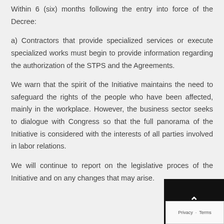Within 6 (six) months following the entry into force of the Decree:
a) Contractors that provide specialized services or execute specialized works must begin to provide information regarding the authorization of the STPS and the Agreements.
We warn that the spirit of the Initiative maintains the need to safeguard the rights of the people who have been affected, mainly in the workplace. However, the business sector seeks to dialogue with Congress so that the full panorama of the Initiative is considered with the interests of all parties involved in labor relations.
We will continue to report on the legislative process of the Initiative and on any changes that may arise.